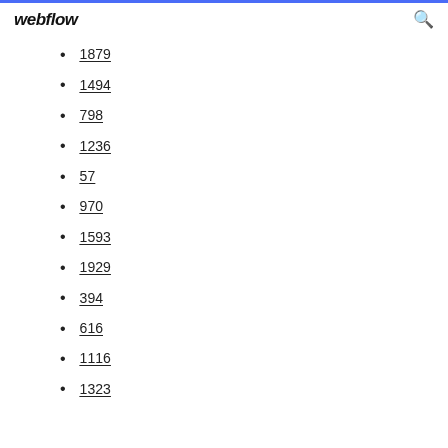webflow
1879
1494
798
1236
57
970
1593
1929
394
616
1116
1323